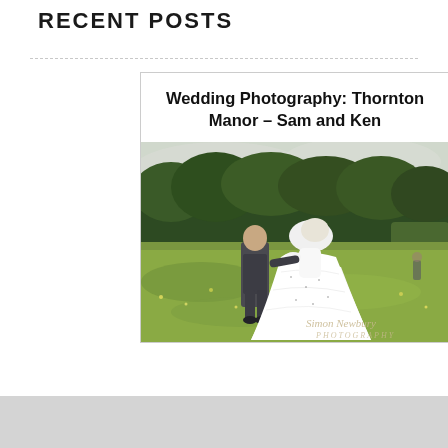RECENT POSTS
Wedding Photography: Thornton Manor – Sam and Ken
[Figure (photo): Outdoor wedding photo of a couple walking away from the camera through a grassy meadow. The groom is wearing a dark grey suit and the bride is wearing a large white flowing gown with veil. Green trees visible in the background. A watermark reading 'Simon Newbury Photography' appears in the lower right corner.]